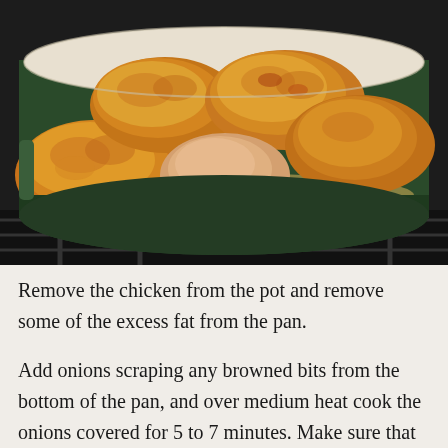[Figure (photo): A green Dutch oven / wide pot on a stove containing several pieces of browned, seasoned chicken pieces (thighs/drumsticks) with golden-brown skin, sitting in pan juices.]
Remove the chicken from the pot and remove some of the excess fat from the pan.
Add onions scraping any browned bits from the bottom of the pan, and over medium heat cook the onions covered for 5 to 7 minutes. Make sure that